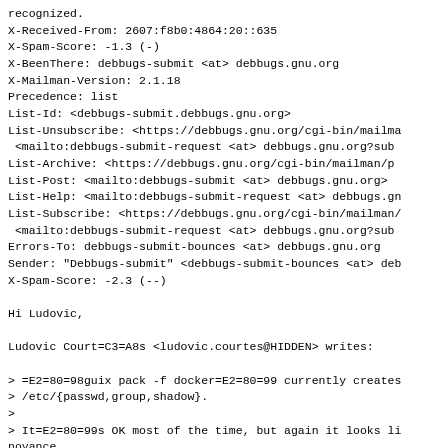recognized.
X-Received-From: 2607:f8b0:4864:20::635
X-Spam-Score: -1.3 (-)
X-BeenThere: debbugs-submit <at> debbugs.gnu.org
X-Mailman-Version: 2.1.18
Precedence: list
List-Id: <debbugs-submit.debbugs.gnu.org>
List-Unsubscribe: <https://debbugs.gnu.org/cgi-bin/mailma
 <mailto:debbugs-submit-request <at> debbugs.gnu.org?sub
List-Archive: <https://debbugs.gnu.org/cgi-bin/mailman/p
List-Post: <mailto:debbugs-submit <at> debbugs.gnu.org>
List-Help: <mailto:debbugs-submit-request <at> debbugs.gn
List-Subscribe: <https://debbugs.gnu.org/cgi-bin/mailman/
 <mailto:debbugs-submit-request <at> debbugs.gnu.org?sub
Errors-To: debbugs-submit-bounces <at> debbugs.gnu.org
Sender: "Debbugs-submit" <debbugs-submit-bounces <at> deb
X-Spam-Score: -2.3 (--)

Hi Ludovic,

Ludovic Court=C3=A8s <ludovic.courtes@HIDDEN> writes:

> =E2=80=98guix pack -f docker=E2=80=99 currently creates
> /etc/{passwd,group,shadow}.
>
> It=E2=80=99s OK most of the time, but again it looks li
noyance
> for those cases where having them around matters (that=
 reason
> why guix-daemon creates them.)